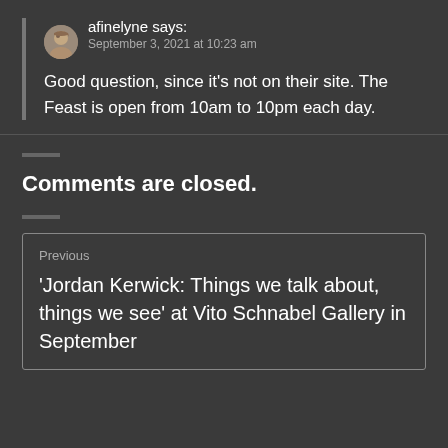afinelyne says:
September 3, 2021 at 10:23 am
Good question, since it's not on their site. The Feast is open from 10am to 10pm each day.
Comments are closed.
Previous
'Jordan Kerwick: Things we talk about, things we see' at Vito Schnabel Gallery in September